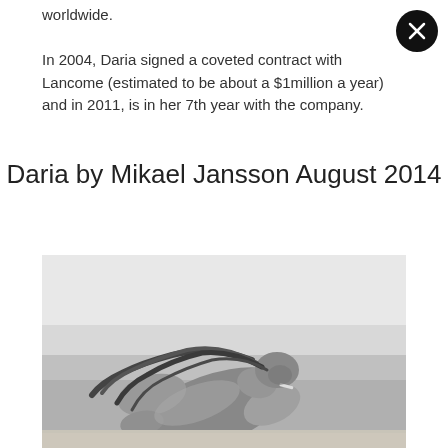worldwide.

In 2004, Daria signed a coveted contract with Lancome (estimated to be about a $1million a year) and in 2011, is in her 7th year with the company.
Daria by Mikael Jansson August 2014
[Figure (photo): Black and white photograph of a woman with long wet dark hair leaning forward on a beach, with a cigarette in her mouth. The background shows a hazy shoreline.]